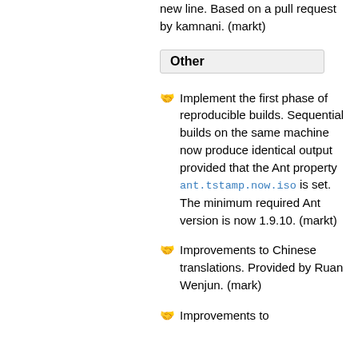new line. Based on a pull request by kamnani. (markt)
Other
Implement the first phase of reproducible builds. Sequential builds on the same machine now produce identical output provided that the Ant property ant.tstamp.now.iso is set. The minimum required Ant version is now 1.9.10. (markt)
Improvements to Chinese translations. Provided by Ruan Wenjun. (mark)
Improvements to